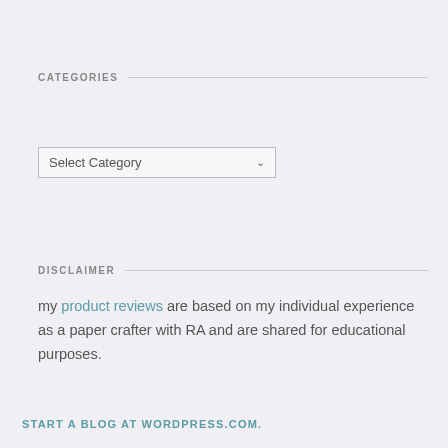CATEGORIES
Select Category
DISCLAIMER
my product reviews are based on my individual experience as a paper crafter with RA and are shared for educational purposes.
START A BLOG AT WORDPRESS.COM.